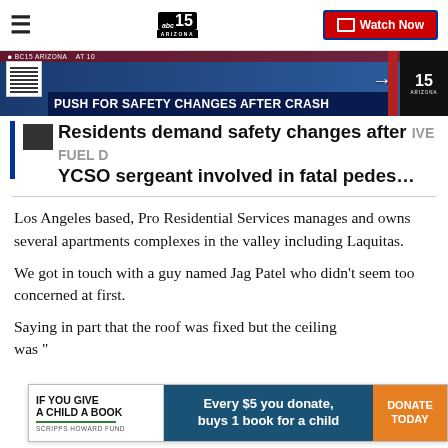ABC15 Arizona — Watch Now
[Figure (screenshot): News thumbnail showing 'PUSH FOR SAFETY CHANGES AFTER CRASH' with ABC15 Arizona branding, QR code, and arrow graphic]
Residents demand safety changes after YCSO sergeant involved in fatal pedes…
Los Angeles based, Pro Residential Services manages and owns several apartments complexes in the valley including Laquitas.
We got in touch with a guy named Jag Patel who didn't seem too concerned at first.
Saying in part that the roof was fixed but the ceiling was "... ing
[Figure (infographic): Ad banner: IF YOU GIVE A CHILD A BOOK — SCRIPPS HOWARD FUND — Every $5 you donate, buys 1 book for a child — DONATE TODAY]